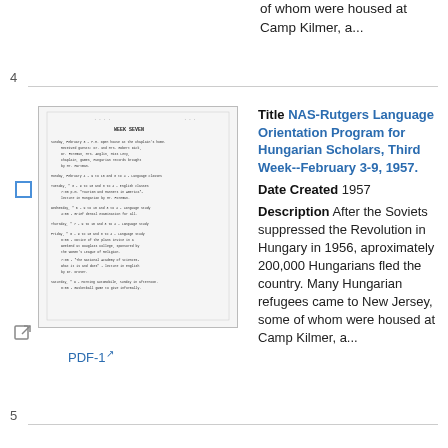of whom were housed at Camp Kilmer, a...
4
[Figure (other): Thumbnail of scanned document page titled 'WEEK SEVEN', showing a schedule for February with daily activities listed]
PDF-1
Title NAS-Rutgers Language Orientation Program for Hungarian Scholars, Third Week--February 3-9, 1957.
Date Created 1957
Description After the Soviets suppressed the Revolution in Hungary in 1956, aproximately 200,000 Hungarians fled the country. Many Hungarian refugees came to New Jersey, some of whom were housed at Camp Kilmer, a...
5